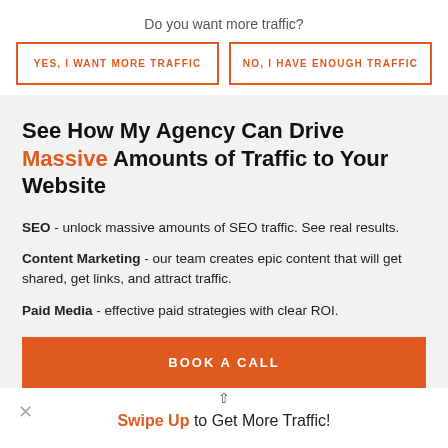Do you want more traffic?
YES, I WANT MORE TRAFFIC
NO, I HAVE ENOUGH TRAFFIC
See How My Agency Can Drive Massive Amounts of Traffic to Your Website
SEO - unlock massive amounts of SEO traffic. See real results.
Content Marketing - our team creates epic content that will get shared, get links, and attract traffic.
Paid Media - effective paid strategies with clear ROI.
BOOK A CALL
Swipe Up to Get More Traffic!